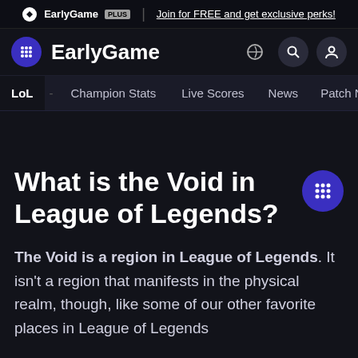EarlyGame PLUS | Join for FREE and get exclusive perks!
EarlyGame
LoL - Champion Stats  Live Scores  News  Patch Notes  Ski...
What is the Void in League of Legends?
The Void is a region in League of Legends. It isn't a region that manifests in the physical realm, though, like some of our other favorite places in League of Legends